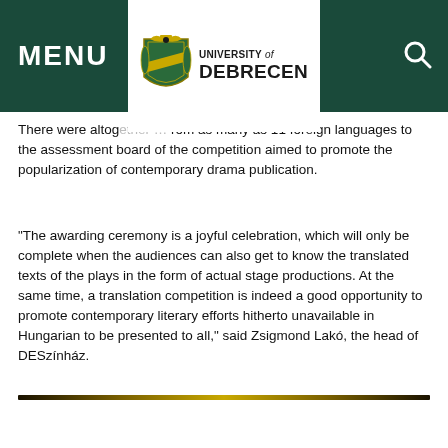MENU | University of Debrecen
There were altogether … from as many as 11 foreign languages to the assessment board of the competition aimed to promote the popularization of contemporary drama publication.
“The awarding ceremony is a joyful celebration, which will only be complete when the audiences can also get to know the translated texts of the plays in the form of actual stage productions. At the same time, a translation competition is indeed a good opportunity to promote contemporary literary efforts hitherto unavailable in Hungarian to be presented to all,” said Zsigmond Lakó, the head of DESzínház.